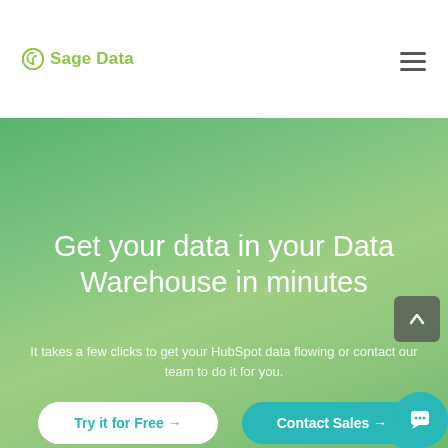Sage Data
Get your data in your Data Warehouse in minutes
It takes a few clicks to get your HubSpot data flowing or contact our team to do it for you.
Try it for Free →
Contact Sales →